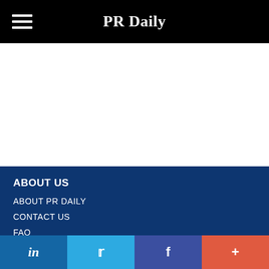PR Daily
ABOUT US
ABOUT PR DAILY
CONTACT US
FAQ
[Figure (infographic): Social media share bar with LinkedIn, Twitter, Facebook, and more (+) buttons]